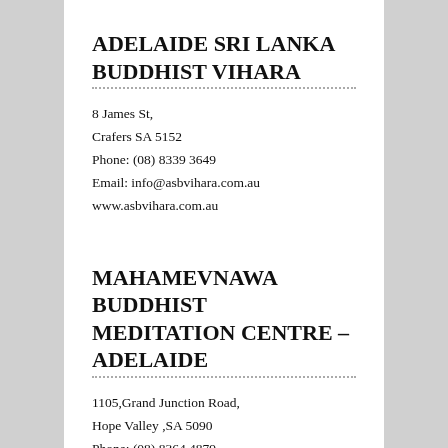ADELAIDE SRI LANKA BUDDHIST VIHARA
8 James St,
Crafers SA 5152
Phone: (08) 8339 3649
Email: info@asbvihara.com.au
www.asbvihara.com.au
MAHAMEVNAWA BUDDHIST MEDITATION CENTRE – ADELAIDE
1105,Grand Junction Road,
Hope Valley ,SA 5090
Phone: (08) 8364 4879